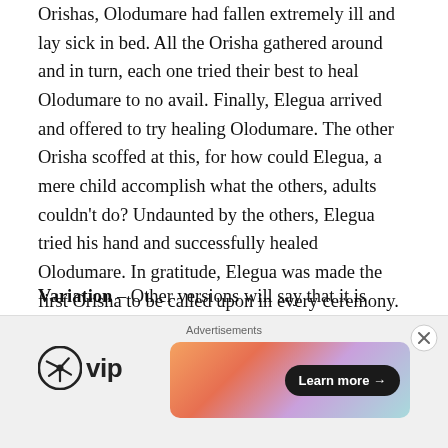Orishas, Olodumare had fallen extremely ill and lay sick in bed. All the Orisha gathered around and in turn, each one tried their best to heal Olodumare to no avail. Finally, Elegua arrived and offered to try healing Olodumare. The other Orisha scoffed at this, for how could Elegua, a mere child accomplish what the others, adults couldn't do? Undaunted by the others, Elegua tried his hand and successfully healed Olodumare. In gratitude, Elegua was made the first Orisha to be called upon in every ceremony.
Variation – Other versions will say that it is Obatala who fell sick that Elegua healed. In thanks, Olodumare or Olofi then gives him the keys to all doors.
[Figure (other): Advertisement section with WordPress VIP logo on the left and a colorful gradient banner ad with 'Learn more →' button on the right. Close button (X) in top right corner. 'Advertisements' label at top center.]